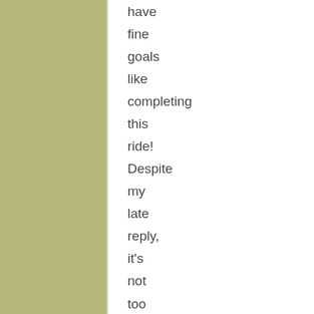have fine goals like completing this ride! Despite my late reply, it's not too late to pursue it yet if you haven't